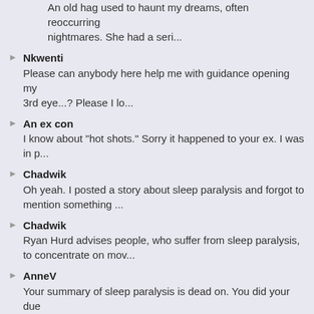An old hag used to haunt my dreams, often reoccurring nightmares. She had a seri...
Nkwenti
Please can anybody here help me with guidance opening my 3rd eye...? Please I lo...
An ex con
I know about "hot shots." Sorry it happened to your ex. I was in p...
Chadwik
Oh yeah. I posted a story about sleep paralysis and forgot to mention something ...
Chadwik
Ryan Hurd advises people, who suffer from sleep paralysis, to concentrate on mov...
AnneV
Your summary of sleep paralysis is dead on. You did your due diligence on resear...
GreenEyedLady
I often hear ringing in my ears when I quiet my mind, it's not loud and it sooth...
Ishita